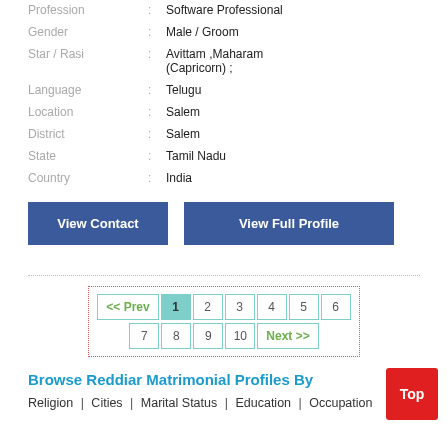Profession : Software Professional
Gender : Male / Groom
Star / Rasi : Avittam ,Maharam (Capricorn) ;
Language : Telugu
Location : Salem
District : Salem
State : Tamil Nadu
Country : India
View Contact | View Full Profile
<< Prev 1 2 3 4 5 6 7 8 9 10 Next >>
Browse Reddiar Matrimonial Profiles By
Religion | Cities | Marital Status | Education | Occupation